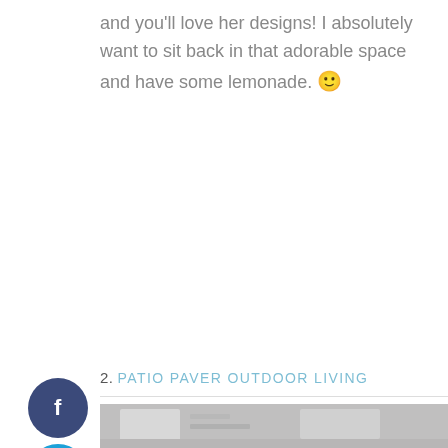and you'll love her designs! I absolutely want to sit back in that adorable space and have some lemonade. 🙂
[Figure (other): Social media share buttons: Facebook (dark blue circle with 'f'), Twitter (light blue circle with bird icon), Pinterest (red circle with 'p')]
2. PATIO PAVER OUTDOOR LIVING
[Figure (photo): Partial image of a patio outdoor living space, mostly grey/light toned]